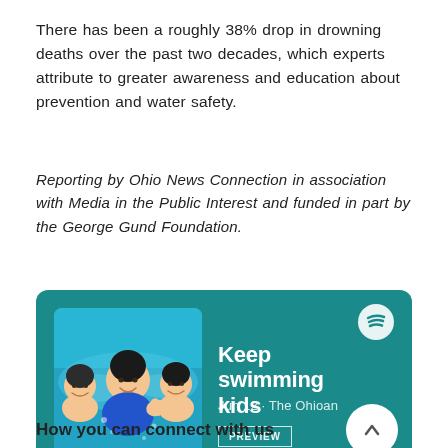There has been a roughly 38% drop in drowning deaths over the past two decades, which experts attribute to greater awareness and education about prevention and water safety.
Reporting by Ohio News Connection in association with Media in the Public Interest and funded in part by the George Gund Foundation.
[Figure (other): Spotify podcast embed card with teal background showing underwater photo of three children swimming and giving thumbs up, Spotify logo top right, title 'Keep swimming kids', date 'Jun 12 · The Ohioan', PREVIEW button, and play button.]
How you can connect with us